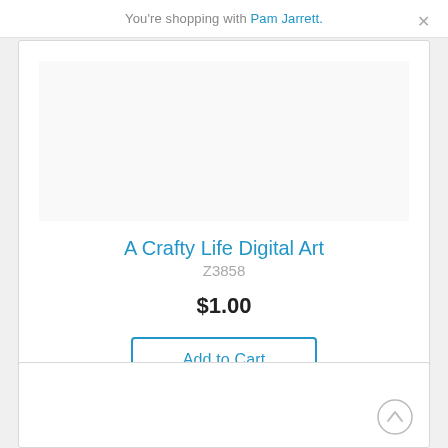You're shopping with Pam Jarrett.
A Crafty Life Digital Art
Z3858
$1.00
Add to Cart